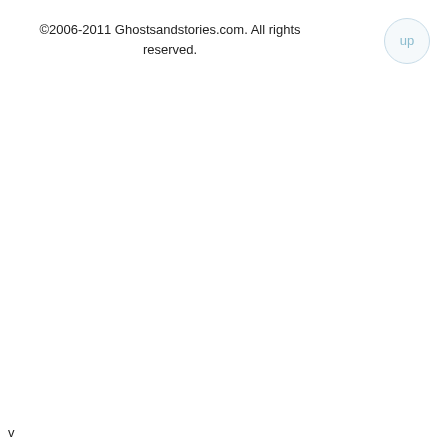©2006-2011 Ghostsandstories.com. All rights reserved.
up
v